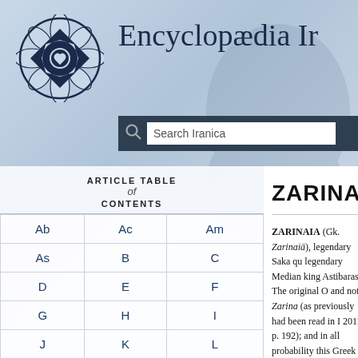[Figure (logo): Encyclopaedia Iranica logo - ornate dark blue floral/geometric medallion]
Encyclopædia Ir
Search Iranica
| Ab | Ac | Am |
| --- | --- | --- |
| As | B | C |
| D | E | F |
| G | H | I |
| J | K | L |
| M | N | O |
| P | Q | R |
ZARINAIA
ZARINAIA (Gk. Zarinaiā), legendary Saka qu legendary Median king Astibaras. The original O and not Zarina (as previously had been read in I 2011, p. 192); and in all probability this Greek f name with the suffix OIran. *-aya- based on a c "golden" (see Schmitt, 2005, pp. 340-42).